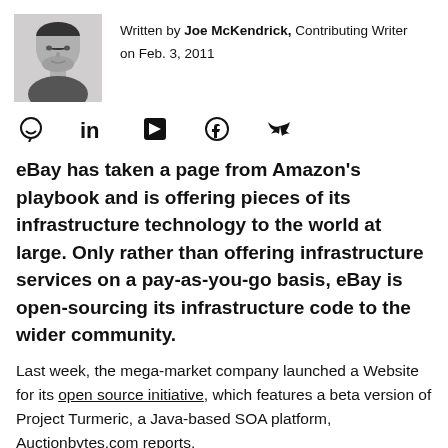[Figure (photo): Black and white headshot photo of Joe McKendrick]
Written by Joe McKendrick, Contributing Writer on Feb. 3, 2011
[Figure (infographic): Social sharing icons: comment, LinkedIn, Flipboard, Facebook, Twitter]
eBay has taken a page from Amazon's playbook and is offering pieces of its infrastructure technology to the world at large. Only rather than offering infrastructure services on a pay-as-you-go basis, eBay is open-sourcing its infrastructure code to the wider community.
Last week, the mega-market company launched a Website for its open source initiative, which features a beta version of Project Turmeric, a Java-based SOA platform, Auctionbytes.com reports.